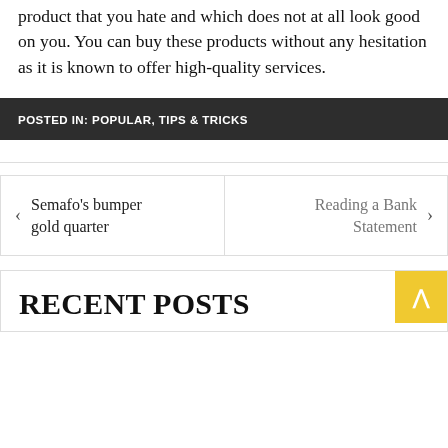product that you hate and which does not at all look good on you. You can buy these products without any hesitation as it is known to offer high-quality services.
POSTED IN: POPULAR, TIPS & TRICKS
Semafo's bumper gold quarter
Reading a Bank Statement
RECENT POSTS